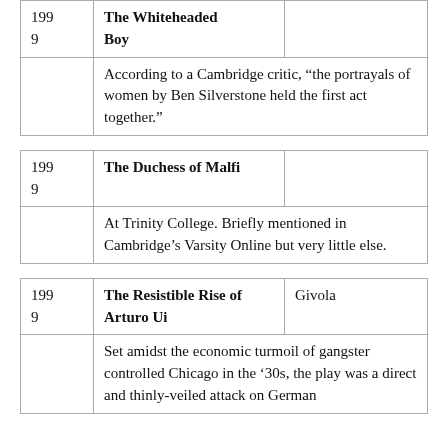| Year | Title | Role |
| --- | --- | --- |
| 199
9 | The Whiteheaded Boy |  |
|  | According to a Cambridge critic, “the portrayals of women by Ben Silverstone held the first act together.” |  |
| Year | Title | Role |
| --- | --- | --- |
| 199
9 | The Duchess of Malfi |  |
|  | At Trinity College. Briefly mentioned in Cambridge’s Varsity Online but very little else. |  |
| Year | Title | Role |
| --- | --- | --- |
| 199
9 | The Resistible Rise of Arturo Ui | Givola |
|  | Set amidst the economic turmoil of gangster controlled Chicago in the ’30s, the play was a direct and thinly-veiled attack on German… |  |